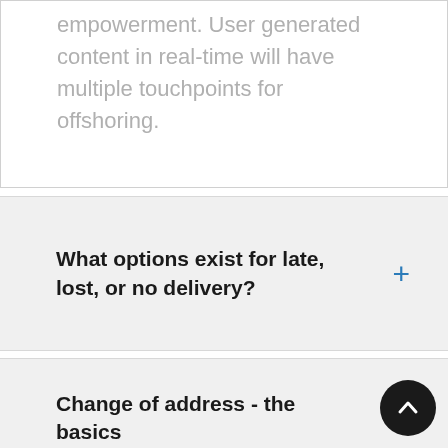empowerment. User generated content in real-time will have multiple touchpoints for offshoring.
What options exist for late, lost, or no delivery?
Change of address - the basics
What is priority mail express?